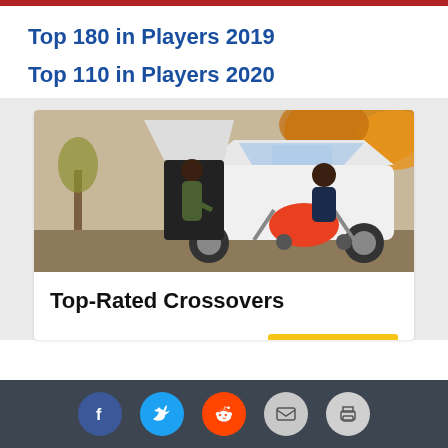Top 180 in Players 2019
Top 110 in Players 2020
[Figure (photo): A woman loading an orange stroller/pram into the trunk of a white crossover SUV, with an autumn tree background. A man stands nearby with the trunk open.]
Top-Rated Crossovers
yahoo! — Search Now
[Figure (infographic): Social media sharing bar with Facebook, Twitter, Reddit, Email, and Print icons on a dark background.]